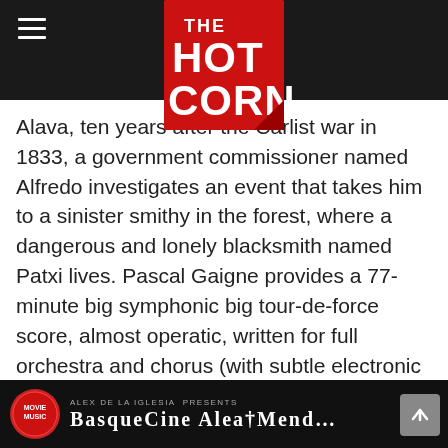THE HOT CORN (logo/navigation bar)
Alava, ten years after the Carlist war in 1833, a government commissioner named Alfredo investigates an event that takes him to a sinister smithy in the forest, where a dangerous and lonely blacksmith named Patxi lives. Pascal Gaigne provides a 77-minute big symphonic big tour-de-force score, almost operatic, written for full orchestra and chorus (with subtle electronic effects). One of the composer's most special scores—performed by the Bratislava Symphony Orchestra under the baton of David Hernando Rico—it will surprise his many fans with its change of style.
[Figure (screenshot): Bottom strip showing a movie music album cover for Alex de la Iglesia presents, with Movie Music badge logo on left and stylized title text on dark background]